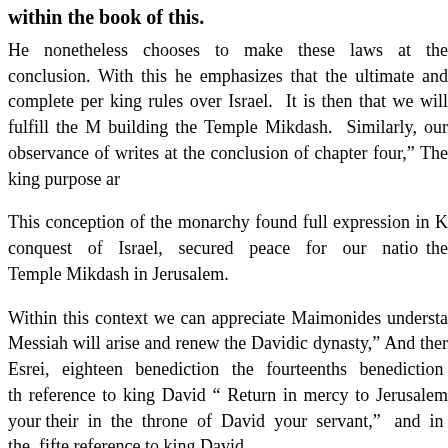within the book of this.
He nonetheless chooses to make these laws at the conclusion. With this he emphasizes that the ultimate and complete per king rules over Israel.  It is then that we will fulfill the M building the Temple Mikdash.  Similarly, our observance of writes at the conclusion of chapter four,” The king purpose ar
This conception of the monarchy found full expression in K conquest  of  Israel,  secured  peace  for  our  natio the Temple Mikdash in Jerusalem.
Within this context we can appreciate Maimonides understa Messiah will arise and renew the Davidic dynasty,” And ther Esrei,  eighteen  benediction  the  fourteenths  benediction  th reference to king David “ Return in mercy to Jerusalem your their  in  the  throne  of  David  your  servant,”   and  in  the  fifte reference to king David